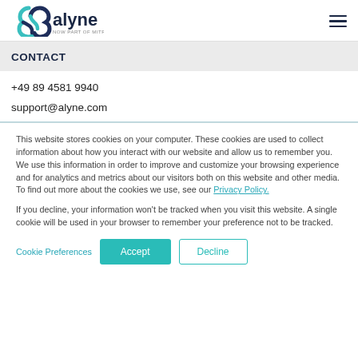[Figure (logo): Alyne logo — teal infinity-like icon with 'alyne' in dark navy text and 'NOW PART OF MITRATECH' in small grey text below]
CONTACT
+49 89 4581 9940
support@alyne.com
This website stores cookies on your computer. These cookies are used to collect information about how you interact with our website and allow us to remember you. We use this information in order to improve and customize your browsing experience and for analytics and metrics about our visitors both on this website and other media. To find out more about the cookies we use, see our Privacy Policy.
If you decline, your information won't be tracked when you visit this website. A single cookie will be used in your browser to remember your preference not to be tracked.
Cookie Preferences | Accept | Decline